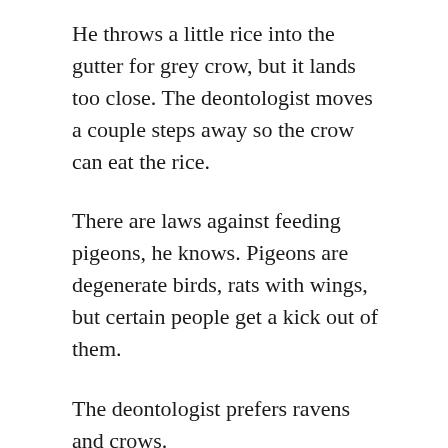He throws a little rice into the gutter for grey crow, but it lands too close. The deontologist moves a couple steps away so the crow can eat the rice.
There are laws against feeding pigeons, he knows. Pigeons are degenerate birds, rats with wings, but certain people get a kick out of them.
The deontologist prefers ravens and crows.
If there were coyotes in Vienna, he'd feed those too.
But there are no coyotes in Vienna.